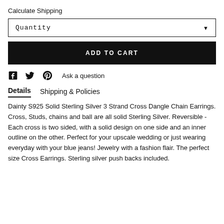Calculate Shipping
Quantity
ADD TO CART
Ask a question
Details   Shipping & Policies
Dainty S925 Solid Sterling Silver 3 Strand Cross Dangle Chain Earrings. Cross, Studs, chains and ball are all solid Sterling Silver. Reversible - Each cross is two sided, with a solid design on one side and an inner outline on the other. Perfect for your upscale wedding or just wearing everyday with your blue jeans! Jewelry with a fashion flair. The perfect size Cross Earrings. Sterling silver push backs included.